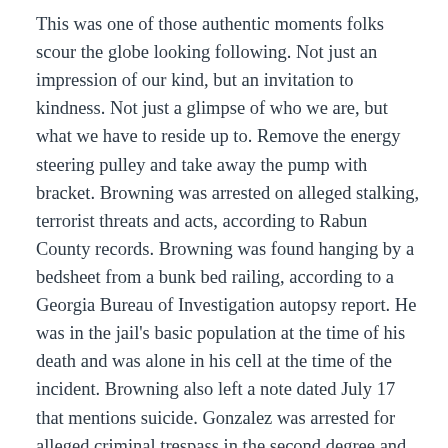This was one of those authentic moments folks scour the globe looking following. Not just an impression of our kind, but an invitation to kindness. Not just a glimpse of who we are, but what we have to reside up to. Remove the energy steering pulley and take away the pump with bracket. Browning was arrested on alleged stalking, terrorist threats and acts, according to Rabun County records. Browning was found hanging by a bedsheet from a bunk bed railing, according to a Georgia Bureau of Investigation autopsy report. He was in the jail's basic population at the time of his death and was alone in his cell at the time of the incident. Browning also left a note dated July 17 that mentions suicide. Gonzalez was arrested for alleged criminal trespass in the second degree and criminal possession of a controlled substance in the fifth degree, according to the New York City Department of Corrections. Gonzalez died from complications of chronic substance abuse. This works the same with your energy source, the a lot more power your pump has the higher the flow price. Most frequently, this is